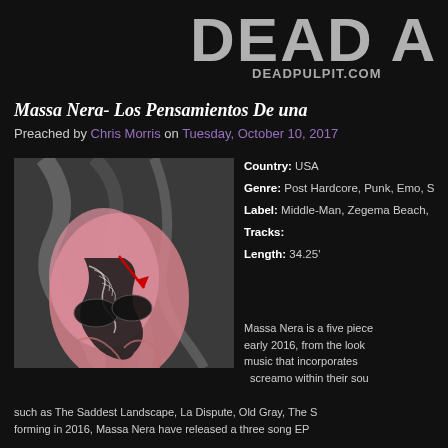DEAD A
DEADPULPIT.COM
Massa Nera- Los Pensamientos De una
Preached by Chris Morris on Tuesday, October 10, 2017
[Figure (photo): Album art for Massa Nera - Los Pensamientos De una, showing a stylized collage of a face with pink and black patterns on a grey background]
Country: USA
Genre: Post Hardcore, Punk, Emo, S
Label: Middle-Man, Zegema Beach,
Tracks:
Length: 34.25'
Massa Nera is a five piece formed early 2016, from the look of it music that incorporates screamo within their sou such as The Saddest Landscape, La Dispute, Old Gray, The S forming in 2016, Massa Nera have released a three song EP